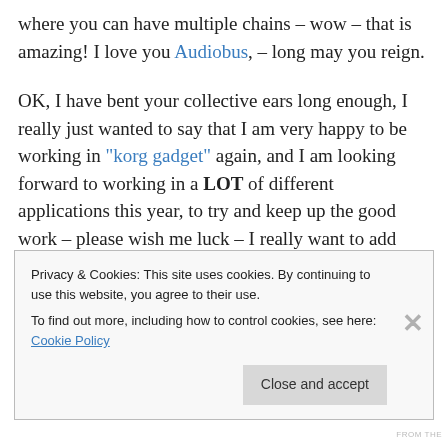where you can have multiple chains – wow – that is amazing! I love you Audiobus, – long may you reign.
OK, I have bent your collective ears long enough, I really just wanted to say that I am very happy to be working in "korg gadget" again, and I am looking forward to working in a LOT of different applications this year, to try and keep up the good work – please wish me luck – I really want to add many, many tracks to all of the existing eternal
Privacy & Cookies: This site uses cookies. By continuing to use this website, you agree to their use.
To find out more, including how to control cookies, see here: Cookie Policy
Close and accept